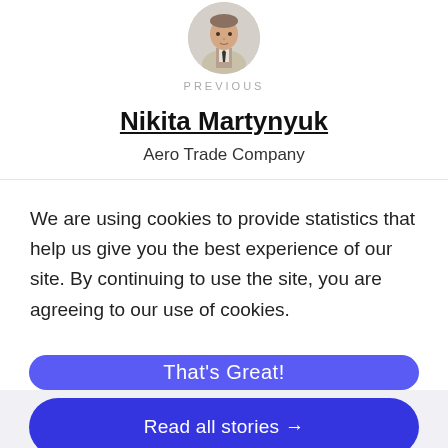[Figure (photo): Circular profile photo of a man in a suit with tie]
PREVIOUS
Nikita Martynyuk
Aero Trade Company
We are using cookies to provide statistics that help us give you the best experience of our site. By continuing to use the site, you are agreeing to our use of cookies.
That's Great!
Read all stories →